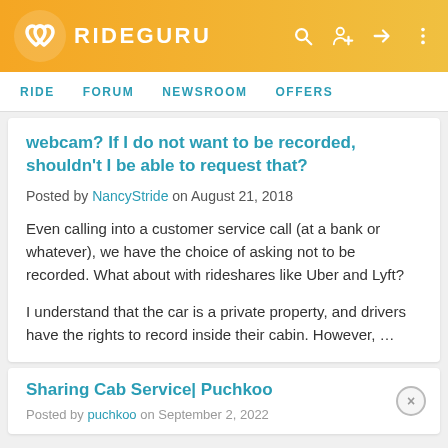RIDEGURU
RIDE  FORUM  NEWSROOM  OFFERS
webcam? If I do not want to be recorded, shouldn't I be able to request that?
Posted by NancyStride on August 21, 2018
Even calling into a customer service call (at a bank or whatever), we have the choice of asking not to be recorded. What about with rideshares like Uber and Lyft?
I understand that the car is a private property, and drivers have the rights to record inside their cabin.  However, …
Sharing Cab Service| Puchkoo
Posted by puchkoo on September 2, 2022